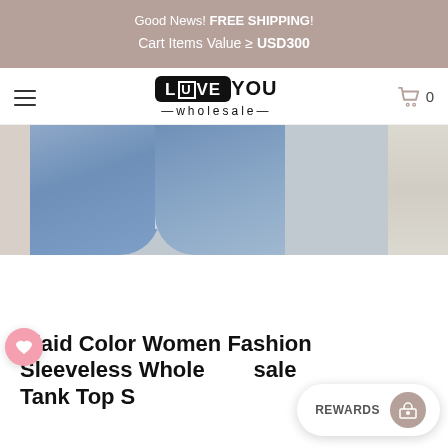Good News! FREE SHIPPING! Cart Items Value ≥ USD300
[Figure (logo): LOVEYOU wholesale logo in black box with navigation bar including hamburger menu and cart icon showing 0]
[Figure (photo): Product photo showing lower body in light blue distressed jeans with white curtains and wall in background]
Plaid Color Women Fashion Sleeveless Wholesale Tank Top S...